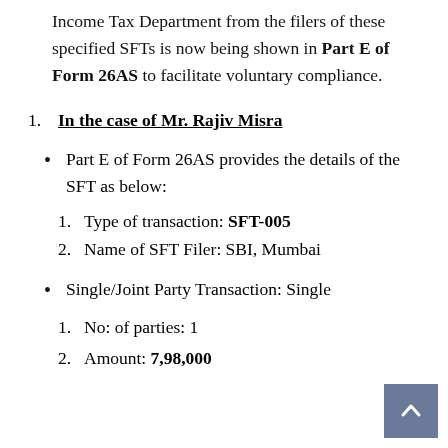Income Tax Department from the filers of these specified SFTs is now being shown in Part E of Form 26AS to facilitate voluntary compliance.
In the case of Mr. Rajiv Misra
Part E of Form 26AS provides the details of the SFT as below:
Type of transaction: SFT-005
Name of SFT Filer: SBI, Mumbai
Single/Joint Party Transaction: Single
No: of parties: 1
Amount: 7,98,000